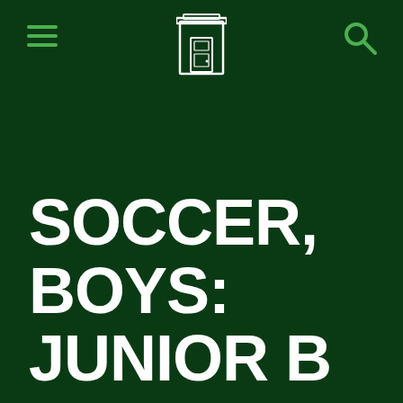navigation header with hamburger menu, logo icon, and search icon
SOCCER, BOYS: JUNIOR B LOSES TO